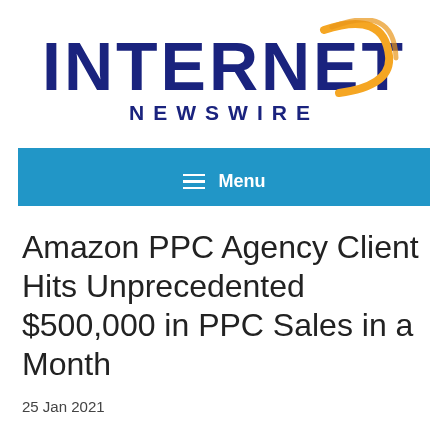[Figure (logo): Internet Newswire logo with dark blue bold text INTERNET and a golden arc swoosh, with NEWSWIRE in dark blue below]
☰ Menu
Amazon PPC Agency Client Hits Unprecedented $500,000 in PPC Sales in a Month
25 Jan 2021